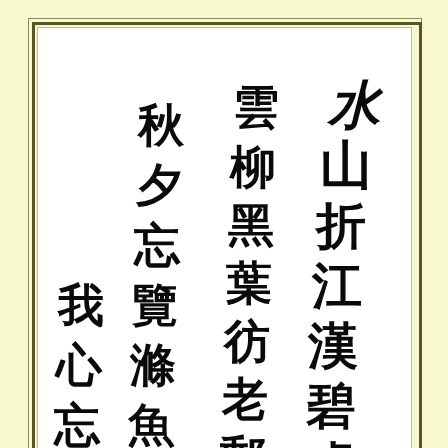[Figure (illustration): Chinese calligraphy in cursive script (草書), written vertically in three columns from right to left, with a small seal or signature in the lower left area. The calligraphy is rendered in black ink on white paper, matted with a cream/yellow border and double-rule frame.]
These two sages are white and pure as cream.
They pass through pines and bamboos in sunbeam.